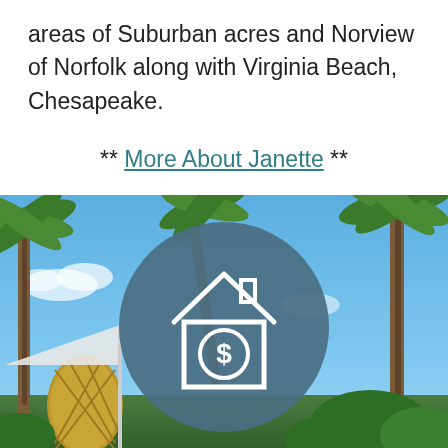areas of Suburban acres and Norview of Norfolk along with Virginia Beach, Chesapeake.
** More About Janette **
[Figure (photo): Outdoor tropical scene with palm trees and blue sky; overlaid with a dark teal circle containing a white house with dollar sign icon]